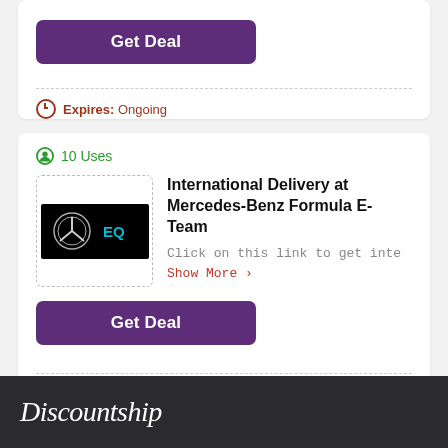[Figure (other): Get Deal button (purple rounded rectangle) at top of page]
Expires: Ongoing
10 Uses
International Delivery at Mercedes-Benz Formula E-Team
Click on this link to get inte Show More >
[Figure (other): Get Deal button (purple rounded rectangle)]
Expires: Ongoing
1
2
3
Next
Discountship